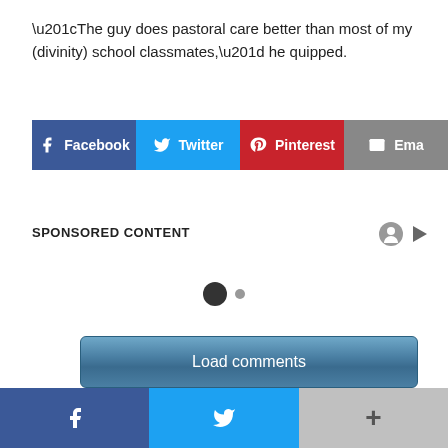“The guy does pastoral care better than most of my (divinity) school classmates,” he quipped.
[Figure (infographic): Social share buttons row: Facebook (blue), Twitter (cyan), Pinterest (red), Email (gray)]
SPONSORED CONTENT
[Figure (infographic): Loading indicator with one large dark circle and one small gray dot]
Load comments
BOOKMARK THE PERMALINK.
[Figure (infographic): Bottom share bar with Facebook, Twitter, and more (+) buttons]